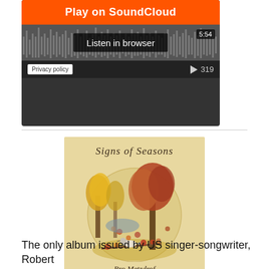[Figure (screenshot): SoundCloud embedded player widget showing orange 'Play on SoundCloud' button, waveform with 'Listen in browser' overlay, duration 5:54, play count 319, and Privacy policy link]
[Figure (illustration): Album cover for 'Signs of Seasons' by Bro Metzdrof. Tan/wood-grain background with cursive title text at top, circular illustration of autumn trees with a bird perched on a branch with leaves, artist name at bottom in italic script.]
The only album issued by US singer-songwriter, Robert